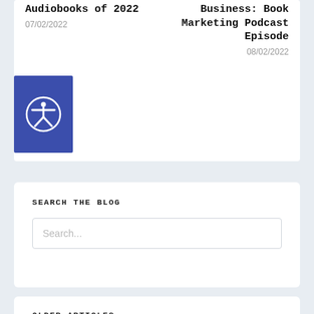Audiobooks of 2022
07/02/2022
Business: Book Marketing Podcast Episode
08/02/2022
[Figure (logo): Accessibility icon: circular person with arms and legs outstretched inside a circle, on blue square background]
SEARCH THE BLOG
Search...
OLDER ARTICLES
FEBRUARY 2022